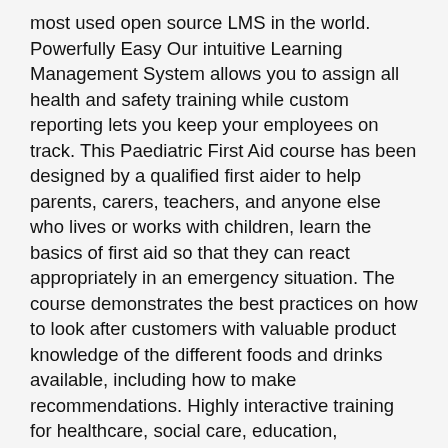most used open source LMS in the world. Powerfully Easy Our intuitive Learning Management System allows you to assign all health and safety training while custom reporting lets you keep your employees on track. This Paediatric First Aid course has been designed by a qualified first aider to help parents, carers, teachers, and anyone else who lives or works with children, learn the basics of first aid so that they can react appropriately in an emergency situation. The course demonstrates the best practices on how to look after customers with valuable product knowledge of the different foods and drinks available, including how to make recommendations. Highly interactive training for healthcare, social care, education, customer services & retail staff. Renovated New Seabury courses at Cape Cod play faster, firmer, fresher From The Web. Understand the importance of customer service throughout the different stages of a meal, from greeting the customer to presenting the bill. I didn't bring the noodles to a boil and then simmer 20-30 min – only brought to a bowl and then my noodles were al dente.